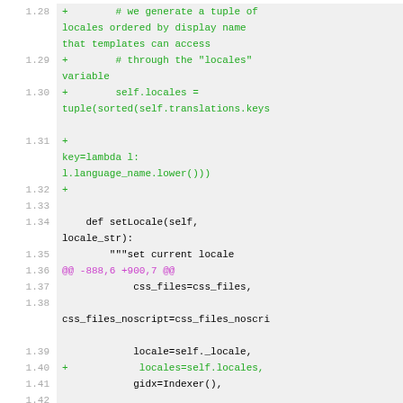Code diff showing Python source lines 1.28–1.43 with additions in green and a diff hunk marker in magenta